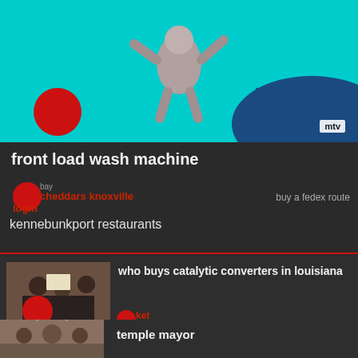[Figure (photo): Astronaut floating in cyan/teal background with red circle and MTV logo, dark blue shape in corner]
front load wash machine
bay cheddars knoxville login
buy a fedex route
kennebunkport restaurants
[Figure (photo): People gathered in a room, protest or meeting scene]
who buys catalytic converters in louisiana
ket trap for mice
glass liquor bottles
how much does the post office
brotherton
[Figure (photo): Group of people in formal setting, temple or official building]
temple mayor